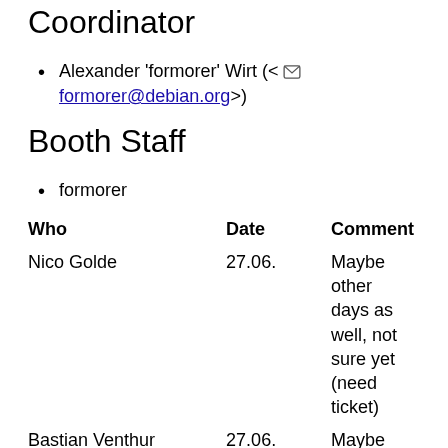Coordinator
Alexander 'formorer' Wirt (< formorer@debian.org>)
Booth Staff
formorer
| Who | Date | Comment |
| --- | --- | --- |
| Nico Golde | 27.06. | Maybe other days as well, not sure yet (need ticket) |
| Bastian Venthur (venthur at d o) | 27.06. | Maybe also on other days (need ticket) |
| Jan Hauke Rahm | 24., 26., 27. | noch nicht 100%, sieht aber gut aus |